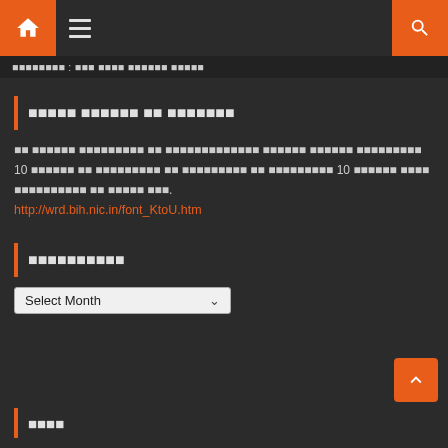Navigation bar with home icon, menu, and search
breadcrumb navigation text in Hindi script
Hindi section title with orange bar
Hindi body text paragraph with reference to 10 items and URL: http://wrd.bih.nic.in/font_KtoU.htm
Hindi section header (Archives)
Select Month dropdown
Hindi section header (Tags)